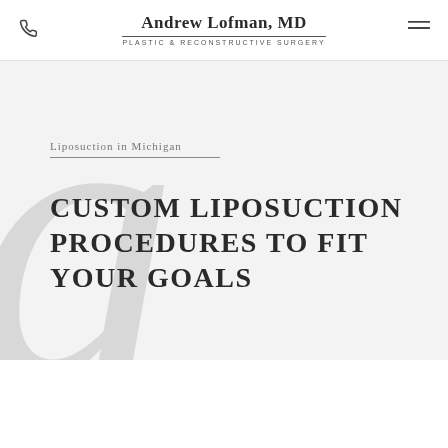Andrew Lofman, MD — Plastic & Reconstructive Surgery
Liposuction in Michigan
CUSTOM LIPOSUCTION PROCEDURES TO FIT YOUR GOALS